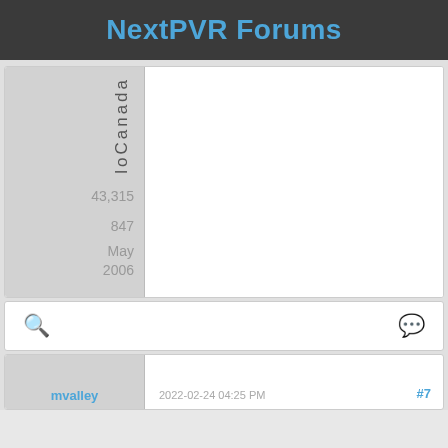NextPVR Forums
loCanada
43,315
847
May 2006
🔍  💬
mvalley
2022-02-24 04:25 PM
#7